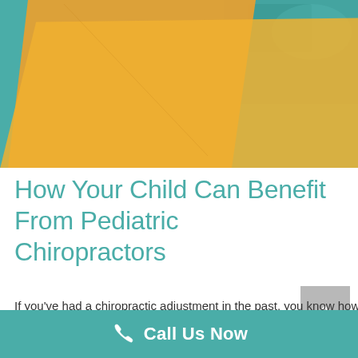[Figure (photo): Hero image with teal background and overlapping orange/gold geometric paper shapes, plus a partial photo of a child in the top right corner]
How Your Child Can Benefit From Pediatric Chiropractors
If you've had a chiropractic adjustment in the past, you know how effective it can be. But did you know that chiropractic care isn't just reserved for adults? In fact,
Call Us Now